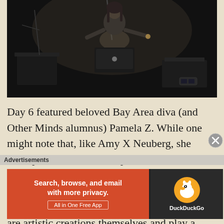[Figure (photo): A performer on stage in dark lighting, standing at electronic equipment with microphone stands visible]
Day 6 featured beloved Bay Area diva (and Other Minds alumnus) Pamela Z.  While one might note that, like Amy X Neuberg, she has a powerful, trained soprano voice and relies on electronics, her results are an entirely different animal.  Some of Z's specialized proximity controlled electronics are artistic creations themselves and play a part in the theatrical component of her performances.
Advertisements
[Figure (infographic): DuckDuckGo advertisement: Search, browse, and email with more privacy. All in One Free App. Orange background on left with text, dark background on right with DuckDuckGo logo.]